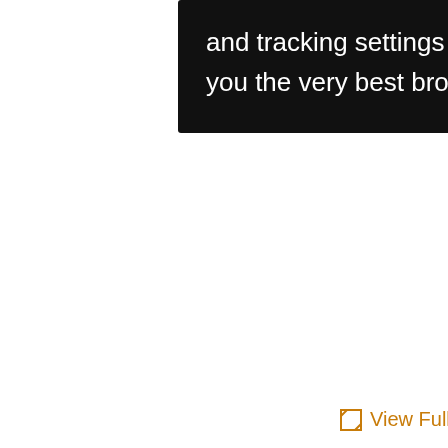and tracking settings to store information that help give you the very best browsing experience.
liste
QC
View Full Size
[Figure (screenshot): Orange vertical sidebar with white icons: save/disk, envelope/email, quotation mark, pencil/edit with strikethrough, share]
per
Cita
Mo
Wea
Rev